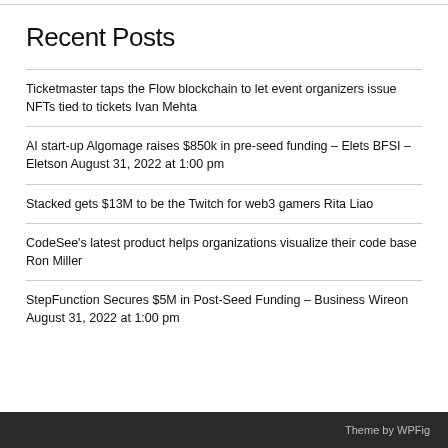Recent Posts
Ticketmaster taps the Flow blockchain to let event organizers issue NFTs tied to tickets Ivan Mehta
AI start-up Algomage raises $850k in pre-seed funding – Elets BFSI – Eletson August 31, 2022 at 1:00 pm
Stacked gets $13M to be the Twitch for web3 gamers Rita Liao
CodeSee's latest product helps organizations visualize their code base Ron Miller
StepFunction Secures $5M in Post-Seed Funding – Business Wireon August 31, 2022 at 1:00 pm
Theme by WPFig